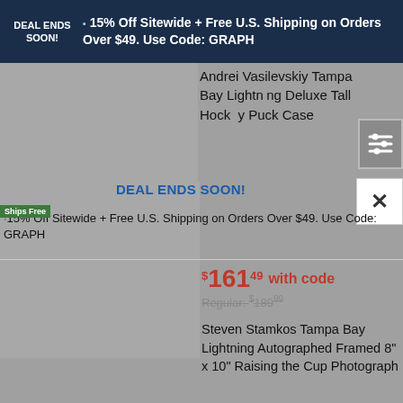DEAL ENDS SOON! 15% Off Sitewide + Free U.S. Shipping on Orders Over $49. Use Code: GRAPH
Andrei Vasilevskiy Tampa Bay Lightning Deluxe Tall Hockey Puck Case
DEAL ENDS SOON!
15% Off Sitewide + Free U.S. Shipping on Orders Over $49. Use Code: GRAPH
$161.49 with code
Regular: $189.99
Steven Stamkos Tampa Bay Lightning Autographed Framed 8" x 10" Raising the Cup Photograph